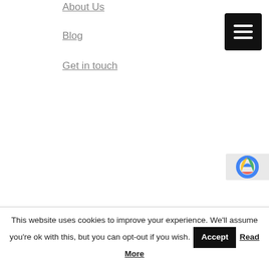About Us
Blog
Get in touch
[Figure (screenshot): Black hamburger menu button (three horizontal white lines on black background)]
[Figure (screenshot): reCAPTCHA widget partially visible at bottom right]
This website uses cookies to improve your experience. We'll assume you're ok with this, but you can opt-out if you wish. Accept Read More